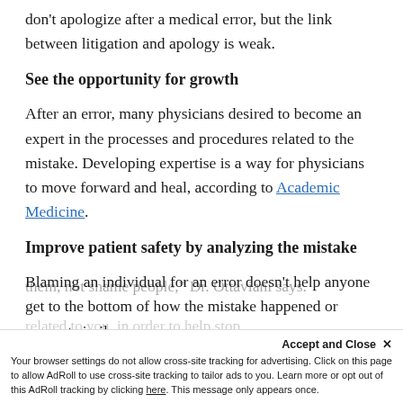don't apologize after a medical error, but the link between litigation and apology is weak.
See the opportunity for growth
After an error, many physicians desired to become an expert in the processes and procedures related to the mistake. Developing expertise is a way for physicians to move forward and heal, according to Academic Medicine.
Improve patient safety by analyzing the mistake
Blaming an individual for an error doesn't help anyone get to the bottom of how the mistake happened or prevent similar errors.
“The purpose for identifying medical errors is to prevent them, not shame people,” Dr. Ottaviani says.
Accept and Close ×
Your browser settings do not allow cross-site tracking for advertising. Click on this page to allow AdRoll to use cross-site tracking to tailor ads to you. Learn more or opt out of this AdRoll tracking by clicking here. This message only appears once.